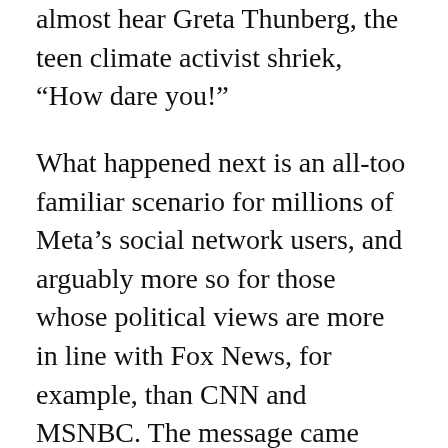almost hear Greta Thunberg, the teen climate activist shriek, “How dare you!”
What happened next is an all-too familiar scenario for millions of Meta’s social network users, and arguably more so for those whose political views are more in line with Fox News, for example, than CNN and MSNBC. The message came attached with a warning, courtesy of the fact-checking group Science Feedback, which stated: “Missing Context. Independent fact-checkers say this information could mislead people.”
Not only do such annoying tags cause the author to lose credibility in the eyes of the